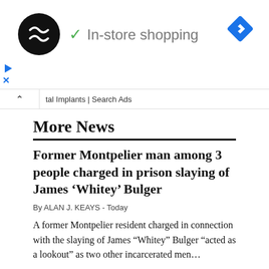[Figure (screenshot): Advertisement banner showing a circular logo with double arrow symbol, a green checkmark followed by 'In-store shopping' text, and a blue diamond navigation icon in the top right corner. Below are play and close (X) buttons in blue. A search bar with up arrow caret and text 'tal Implants | Search Ads' is at the bottom of the ad area.]
More News
Former Montpelier man among 3 people charged in prison slaying of James ‘Whitey’ Bulger
By ALAN J. KEAYS - Today
A former Montpelier resident charged in connection with the slaying of James “Whitey” Bulger “acted as a lookout” as two other incarcerated men…